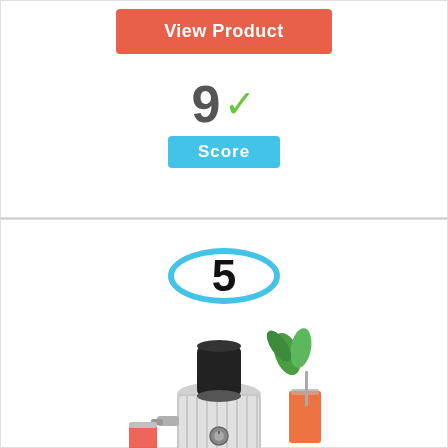[Figure (other): Orange 'View Product' button]
9 ✓
Score
5
[Figure (photo): Photo of a stainless steel juicer/juice extractor machine surrounded by fruits and vegetables]